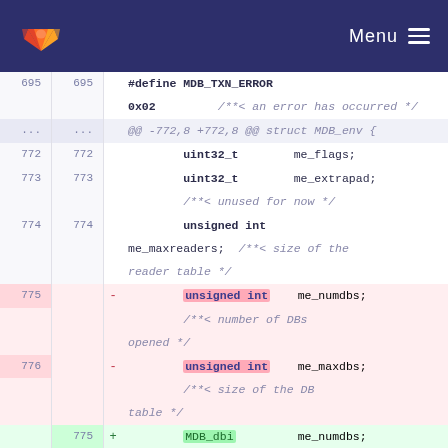GitLab Menu
[Figure (screenshot): GitLab code diff view showing changes to MDB_env struct members me_numdbs and me_maxdbs, replacing unsigned int with MDB_dbi type]
695  695  #define MDB_TXN_ERROR 0x02  /**< an error has occurred */
...  ...  @@ -772,8 +772,8 @@ struct MDB_env {
772  772  uint32_t  me_flags;
773  773  uint32_t  me_extrapad; /**< unused for now */
774  774  unsigned int me_maxreaders; /**< size of the reader table */
775  -  unsigned int  me_numdbs; /**< number of DBs opened */
776  -  unsigned int  me_maxdbs; /**< size of the DB table */
    775 +  MDB_dbi  me_numdbs; /**< number of DBs opened */
    776 +  MDB_dbi  me_maxdbs;